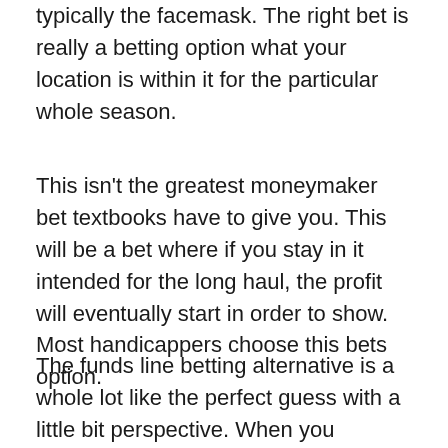typically the facemask. The right bet is really a betting option what your location is within it for the particular whole season.
This isn't the greatest moneymaker bet textbooks have to give you. This will be a bet where if you stay in it intended for the long haul, the profit will eventually start in order to show. Most handicappers choose this bets option.
The funds line betting alternative is a whole lot like the perfect guess with a little bit perspective. When you gamble a football video game on the funds line, this involves a simple bet around the true winner from the game without a new point spread. Permits get back to